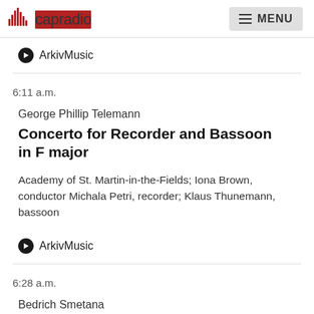capradio  MENU
ArkivMusic
6:11 a.m.
George Phillip Telemann
Concerto for Recorder and Bassoon in F major
Academy of St. Martin-in-the-Fields; Iona Brown, conductor Michala Petri, recorder; Klaus Thunemann, bassoon
ArkivMusic
6:28 a.m.
Bedrich Smetana
THE BRANDENBURGERS IN